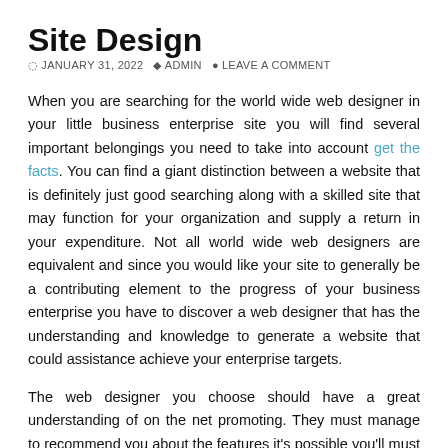Site Design
© JANUARY 31, 2022   ADMIN   LEAVE A COMMENT
When you are searching for the world wide web designer in your little business enterprise site you will find several important belongings you need to take into account get the facts. You can find a giant distinction between a website that is definitely just good searching along with a skilled site that may function for your organization and supply a return in your expenditure. Not all world wide web designers are equivalent and since you would like your site to generally be a contributing element to the progress of your business enterprise you have to discover a web designer that has the understanding and knowledge to generate a website that could assistance achieve your enterprise targets.
The web designer you choose should have a great understanding of on the net promoting. They must manage to recommend you about the features it's possible you'll must integrate into your internet site including procuring carts and payment processors. They need to even be in a position to debate things including email internet marketing strategies, guide era and direct seize